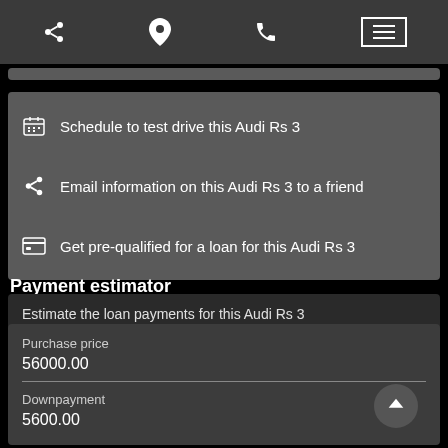[Figure (screenshot): Mobile app navigation bar with share icon, location pin icon, phone icon, and hamburger menu button]
Schedule to test drive this Audi Rs 3
Email information on this Audi Rs 3 to a friend
Get pre-qualified for a loan for this Audi Rs 3
Payment estimator
Estimate the loan payments for this Audi Rs 3
| Field | Value |
| --- | --- |
| Purchase price | 56000.00 |
| Downpayment | 5600.00 |